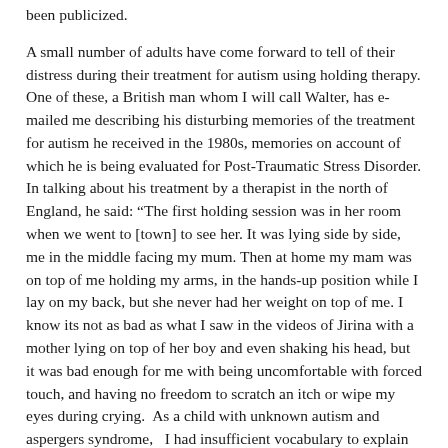been publicized.
A small number of adults have come forward to tell of their distress during their treatment for autism using holding therapy. One of these, a British man whom I will call Walter, has e-mailed me describing his disturbing memories of the treatment for autism he received in the 1980s, memories on account of which he is being evaluated for Post-Traumatic Stress Disorder. In talking about his treatment by a therapist in the north of England, he said: “The first holding session was in her room when we went to [town] to see her. It was lying side by side, me in the middle facing my mum. Then at home my mam was on top of me holding my arms, in the hands-up position while I lay on my back, but she never had her weight on top of me. I know its not as bad as what I saw in the videos of Jirina with a mother lying on top of her boy and even shaking his head, but it was bad enough for me with being uncomfortable with forced touch, and having no freedom to scratch an itch or wipe my eyes during crying.  As a child with unknown autism and aspergers syndrome,   I had insufficient vocabulary to explain my way out of this and felt trapped as to why I reacted the way I did, so it felt horrible for a therapist to watch telling me I’m angry all the time, it felt like she was playing